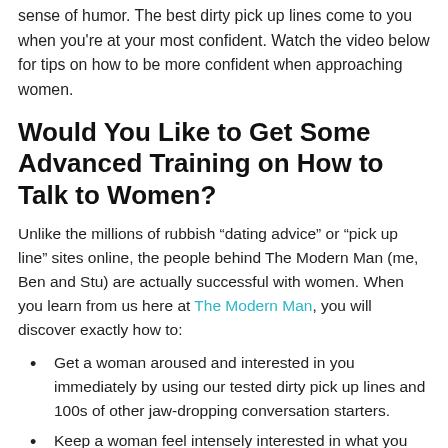sense of humor. The best dirty pick up lines come to you when you're at your most confident. Watch the video below for tips on how to be more confident when approaching women.
Would You Like to Get Some Advanced Training on How to Talk to Women?
Unlike the millions of rubbish “dating advice” or “pick up line” sites online, the people behind The Modern Man (me, Ben and Stu) are actually successful with women. When you learn from us here at The Modern Man, you will discover exactly how to:
Get a woman aroused and interested in you immediately by using our tested dirty pick up lines and 100s of other jaw-dropping conversation starters.
Keep a woman feel intensely interested in what you have to say, so you can chat with her for long enough...